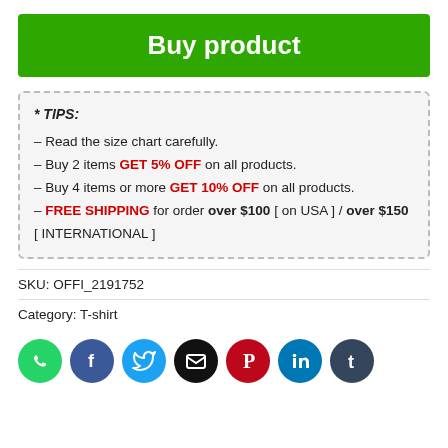Buy product
* TIPS:
- Read the size chart carefully.
- Buy 2 items GET 5% OFF on all products.
- Buy 4 items or more GET 10% OFF on all products.
- FREE SHIPPING for order over $100 [ on USA ] / over $150 [ INTERNATIONAL ]
SKU: OFFI_2191752
Category: T-shirt
[Figure (infographic): Row of 7 social media share icons: WhatsApp (green), Facebook (blue), Twitter (blue), Email (black), Pinterest (red), LinkedIn (blue), Tumblr (dark blue)]